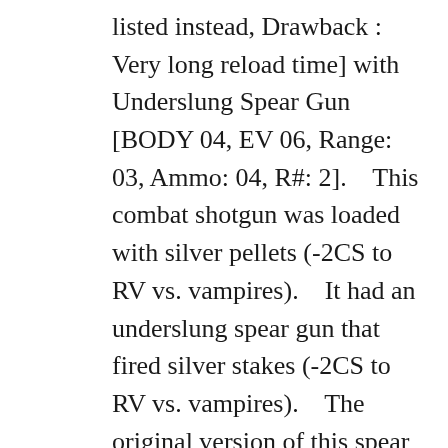listed instead, Drawback : Very long reload time] with Underslung Spear Gun [BODY 04, EV 06, Range: 03, Ammo: 04, R#: 2].    This combat shotgun was loaded with silver pellets (-2CS to RV vs. vampires).    It had an underslung spear gun that fired silver stakes (-2CS to RV vs. vampires).    The original version of this spear gun, used up until the defeat of Deacon Frost, only had an Ammo rating of 2.    Blade's shotgun had a reinforced frame so that he could use it as a melee weapon as necessary (clubbing with the barrel, the butt, etc.).    Doing so does not